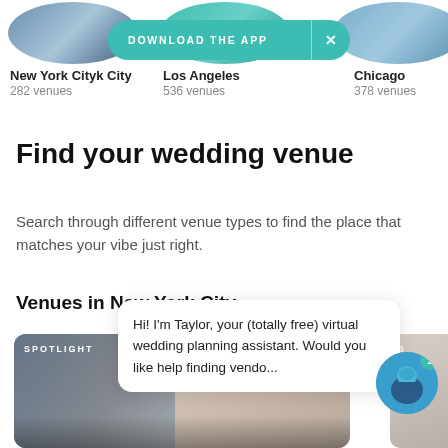[Figure (screenshot): Circular city photos for New York City, Los Angeles, Chicago at top of page]
New York City
282 venues
Los Angeles
536 venues
Chicago
378 venues
DOWNLOAD THE APP
Find your wedding venue
Search through different venue types to find the place that matches your vibe just right.
Venues in New York City
[Figure (photo): Wedding venue card with SPOTLIGHT label and heart icon]
Hi! I'm Taylor, your (totally free) virtual wedding planning assistant. Would you like help finding vendo...